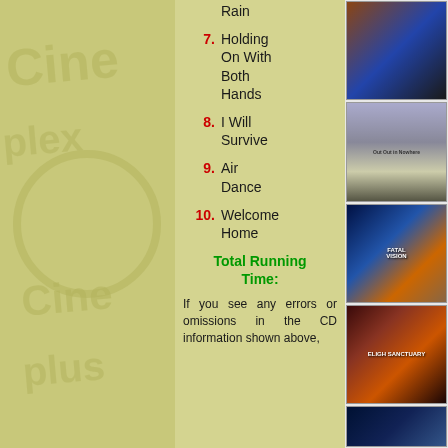Rain
7. Holding On With Both Hands
8. I Will Survive
9. Air Dance
10. Welcome Home
Total Running Time:
If you see any errors or omissions in the CD information shown above,
[Figure (photo): Album art - dark photo with circular design]
[Figure (photo): Album art - Out Out in Nowhere, desert/barren landscape with door]
[Figure (photo): Album art - Fatal Vision, dramatic sky with lone figure on beach]
[Figure (photo): Album art - Eligh Sanctuary, ornate face with glowing center]
[Figure (photo): Album art - partial colorful image at bottom]